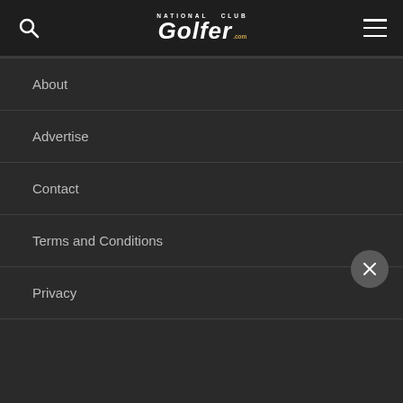National Club Golfer
About
Advertise
Contact
Terms and Conditions
Privacy